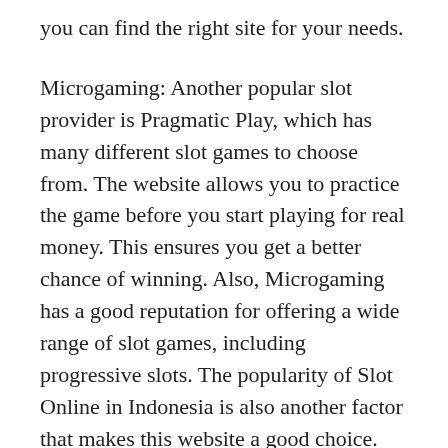you can find the right site for your needs.
Microgaming: Another popular slot provider is Pragmatic Play, which has many different slot games to choose from. The website allows you to practice the game before you start playing for real money. This ensures you get a better chance of winning. Also, Microgaming has a good reputation for offering a wide range of slot games, including progressive slots. The popularity of Slot Online in Indonesia is also another factor that makes this website a good choice.
MemuPlay: An android emulator is highly recommended for this purpose. This application is lightweight and fast. It supports all the major mobile gaming software and can run most apps. Simply download MemuPlay from its official website and double-tap the Google Playstore game icon. After the